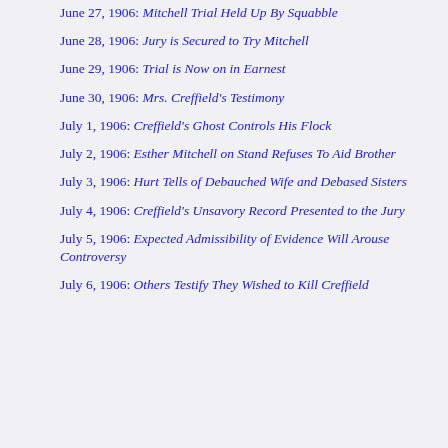June 27, 1906: Mitchell Trial Held Up By Squabble
June 28, 1906: Jury is Secured to Try Mitchell
June 29, 1906: Trial is Now on in Earnest
June 30, 1906: Mrs. Creffield's Testimony
July 1, 1906: Creffield's Ghost Controls His Flock
July 2, 1906: Esther Mitchell on Stand Refuses To Aid Brother
July 3, 1906: Hurt Tells of Debauched Wife and Debased Sisters
July 4, 1906: Creffield's Unsavory Record Presented to the Jury
July 5, 1906: Expected Admissibility of Evidence Will Arouse Controversy
July 6, 1906: Others Testify They Wished to Kill Creffield